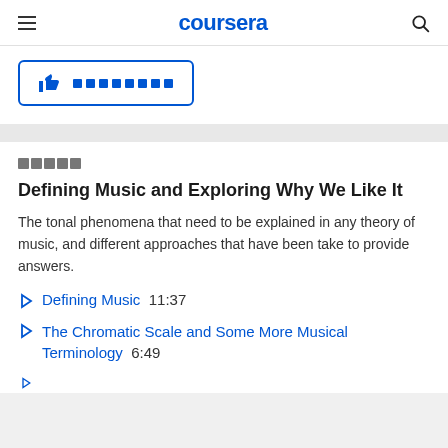coursera
[Figure (screenshot): Like/helpful button with thumbs up icon and redacted text, blue border]
█████
Defining Music and Exploring Why We Like It
The tonal phenomena that need to be explained in any theory of music, and different approaches that have been take to provide answers.
Defining Music  11:37
The Chromatic Scale and Some More Musical Terminology  6:49